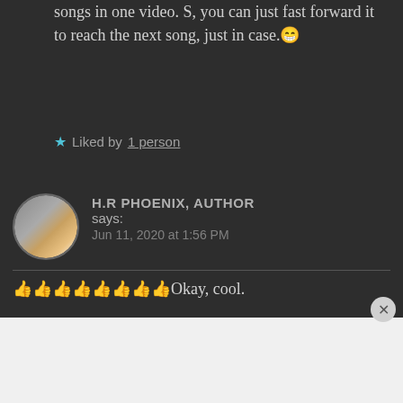songs in one video. S, you can just fast forward it to reach the next song, just in case.😁
★ Liked by 1 person
H.R PHOENIX, AUTHOR says: Jun 11, 2020 at 1:56 PM
👍👍👍👍👍👍👍👍Okay, cool.
And what did you think of the
Advertisements
[Figure (screenshot): WordPress.com advertisement banner with logo and 'Build Your Website' button]